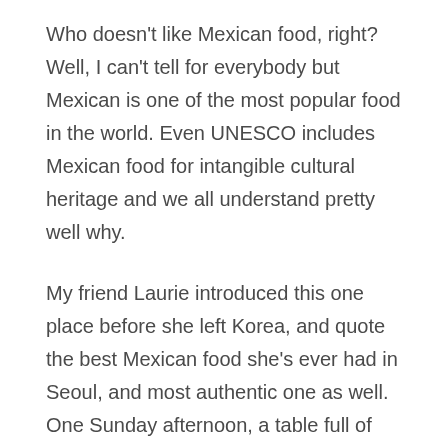Who doesn't like Mexican food, right? Well, I can't tell for everybody but Mexican is one of the most popular food in the world. Even UNESCO includes Mexican food for intangible cultural heritage and we all understand pretty well why.
My friend Laurie introduced this one place before she left Korea, and quote the best Mexican food she's ever had in Seoul, and most authentic one as well. One Sunday afternoon, a table full of burrito, taco, quesadilla and of course, margarita, I got the feeling that I will be back this place many times – and in fact it became true.